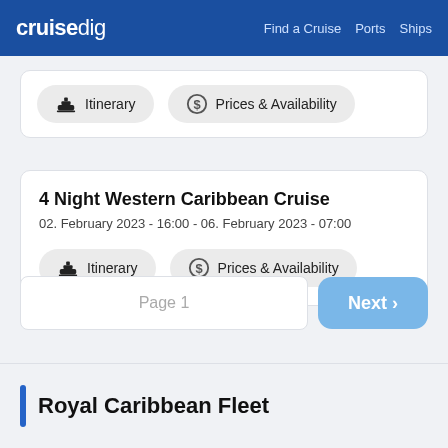cruisedig | Find a Cruise | Ports | Ships
Itinerary   Prices & Availability
4 Night Western Caribbean Cruise
02. February 2023 - 16:00 - 06. February 2023 - 07:00
Itinerary   Prices & Availability
Page 1
Next ›
Royal Caribbean Fleet